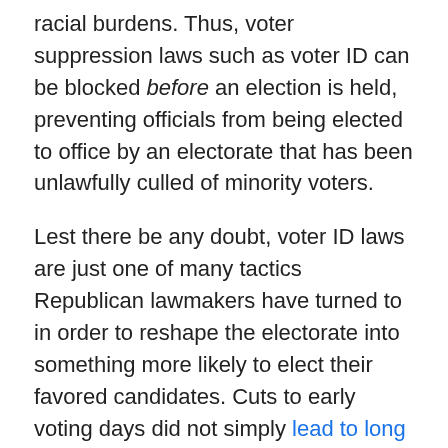racial burdens. Thus, voter suppression laws such as voter ID can be blocked before an election is held, preventing officials from being elected to office by an electorate that has been unlawfully culled of minority voters.
Lest there be any doubt, voter ID laws are just one of many tactics Republican lawmakers have turned to in order to reshape the electorate into something more likely to elect their favored candidates. Cuts to early voting days did not simply lead to long lines in states like Florida, they were also a direct attack on minority voters. As one Republican consultant admitted after last November's election, "I know that the cutting out of the Sunday before Election Day was one of [the Florida GOP's] targets only because that's a big day when the black churches organize themselves." Voter purges targeted Latino voters. Republican laws restricting voter registration also cut into